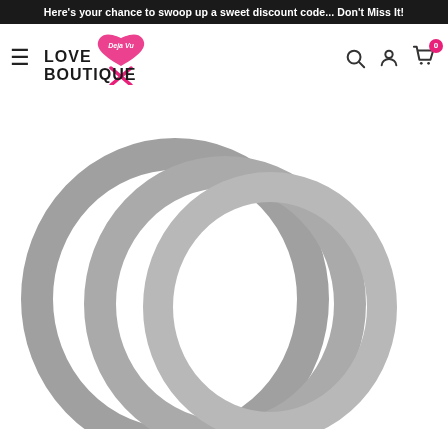Here's your chance to swoop up a sweet discount code... Don't Miss It!
[Figure (logo): Deja Vu Love Boutique Online logo with pink heart and crossbones design]
[Figure (photo): Three gray silicone cock rings of different sizes arranged together on white background]